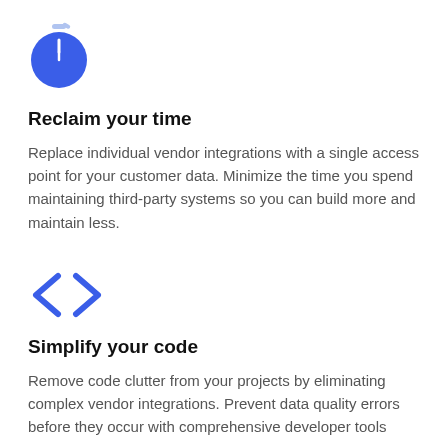[Figure (illustration): Blue circle timer/stopwatch icon with a white clock face showing 12 o'clock position]
Reclaim your time
Replace individual vendor integrations with a single access point for your customer data. Minimize the time you spend maintaining third-party systems so you can build more and maintain less.
[Figure (illustration): Blue code brackets icon showing less-than and greater-than symbols (< >)]
Simplify your code
Remove code clutter from your projects by eliminating complex vendor integrations. Prevent data quality errors before they occur with comprehensive developer tools